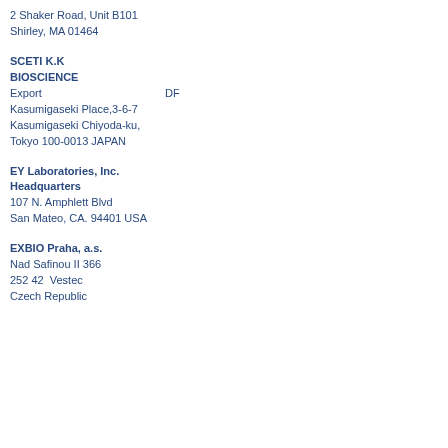2 Shaker Road, Unit B101
Shirley, MA 01464
SCETI K.K
BIOSCIENCE
Export    DF
Kasumigaseki Place,3-6-7
Kasumigaseki Chiyoda-ku,
Tokyo 100-0013 JAPAN
EY Laboratories, Inc.
Headquarters
107 N. Amphlett Blvd
San Mateo, CA. 94401 USA
EXBIO Praha, a.s.
Nad Safinou II 366
252 42  Vestec
Czech Republic